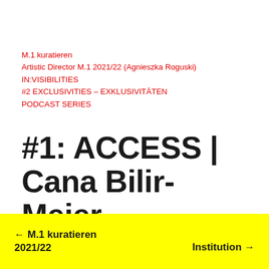M.1 kuratieren
Artistic Director M.1 2021/22 (Agnieszka Roguski)
IN:VISIBILITIES
#2 EXCLUSIVITIES – EXKLUSIVITÄTEN
PODCAST SERIES
#1: ACCESS | Cana Bilir-Meier
available from 7 April 2022 via Vimeo
← M.1 kuratieren 2021/22    Institution →